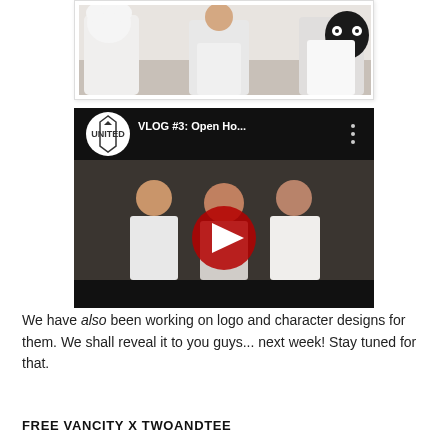[Figure (photo): Cropped photo of three people holding large stuffed animal toys (a white bear and a black character), visible from waist up against a white wall background.]
[Figure (screenshot): YouTube video embed showing VLOG #3: Open Ho... with United channel logo. Three people standing in a room, YouTube play button overlay in center.]
We have also been working on logo and character designs for them. We shall reveal it to you guys... next week! Stay tuned for that.
FREE VANCITY x TWOANDTEE